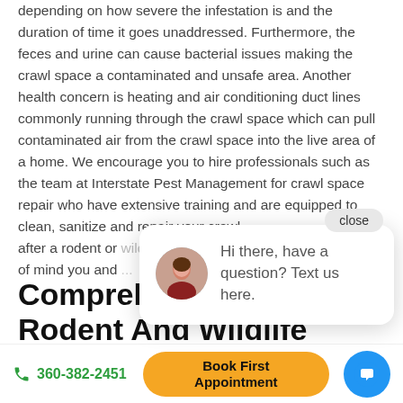depending on how severe the infestation is and the duration of time it goes unaddressed. Furthermore, the feces and urine can cause bacterial issues making the crawl space a contaminated and unsafe area. Another health concern is heating and air conditioning duct lines commonly running through the crawl space which can pull contaminated air from the crawl space into the live area of a home. We encourage you to hire professionals such as the team at Interstate Pest Management for crawl space repair who have extensive training and are equipped to clean, sanitize and repair your crawl space after a rodent or wildlife infestation to give you the peace of mind you and...
[Figure (other): Chat popup overlay with avatar photo of a woman, close button, and message: 'Hi there, have a question? Text us here.']
Compreh... Rodent And Wildlife Cleanup
360-382-2451
Book First Appointment